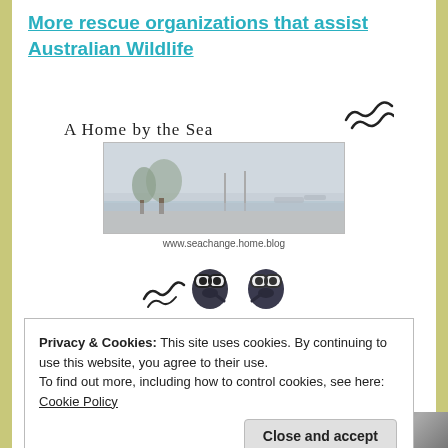More rescue organizations that assist Australian Wildlife
[Figure (illustration): Blog widget for 'A Home by the Sea' showing handwritten title with wave doodle, a coastal/harbour photo in greyscale, the URL www.seachange.home.blog, and two cartoon owl characters holding hands]
Privacy & Cookies: This site uses cookies. By continuing to use this website, you agree to their use.
To find out more, including how to control cookies, see here: Cookie Policy
Close and accept
Create